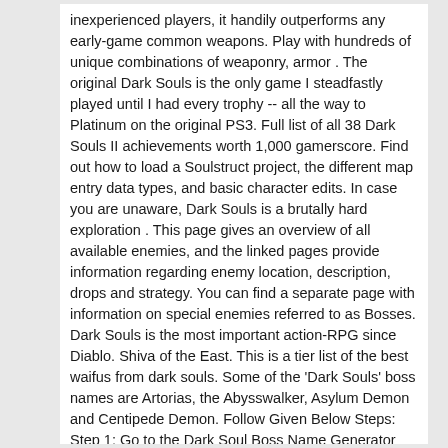inexperienced players, it handily outperforms any early-game common weapons. Play with hundreds of unique combinations of weaponry, armor . The original Dark Souls is the only game I steadfastly played until I had every trophy -- all the way to Platinum on the original PS3. Full list of all 38 Dark Souls II achievements worth 1,000 gamerscore. Find out how to load a Soulstruct project, the different map entry data types, and basic character edits. In case you are unaware, Dark Souls is a brutally hard exploration . This page gives an overview of all available enemies, and the linked pages provide information regarding enemy location, description, drops and strategy. You can find a separate page with information on special enemies referred to as Bosses. Dark Souls is the most important action-RPG since Diablo. Shiva of the East. This is a tier list of the best waifus from dark souls. Some of the 'Dark Souls' boss names are Artorias, the Abysswalker, Asylum Demon and Centipede Demon. Follow Given Below Steps: Step 1: Go to the Dark Soul Boss Name Generator Website. Marbas first came to the Dark Angels' attention in M36, when the Chapter received reports of a Fallen bearing his name leading a Chaos Warband. These hex IDs are up-to-date for the latest version of Dark Souls 3 on Steam (PC / Mac). On my first play through, harpies have the difficulty of NG+++.